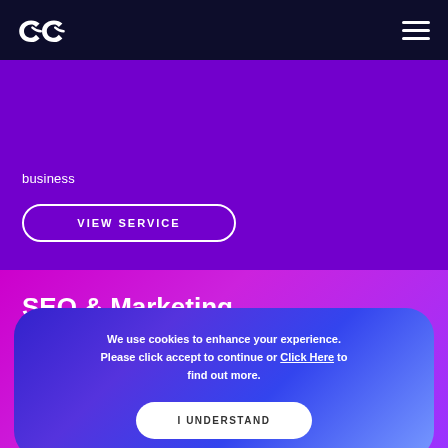business
VIEW SERVICE
SEO & Marketing
We use cookies to enhance your experience. Please click accept to continue or Click Here to find out more.
I UNDERSTAND
The ... enquiries and lead to sales.